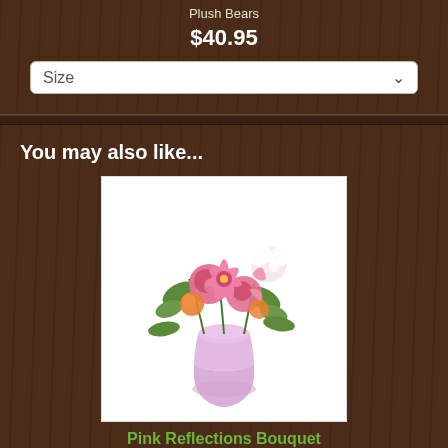Plush Bears
$40.95
Size
You may also like...
[Figure (photo): Pink flower bouquet with roses, lilies, and alstroemeria in a pink glass vase on white background]
Pink Reflections Bouquet
$93.95